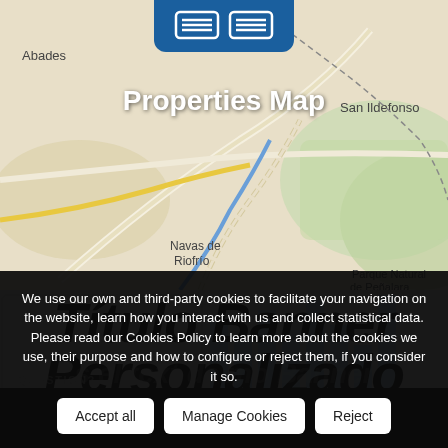[Figure (screenshot): Map screenshot showing geographic area with locations: Abades, San Ildefonso, Navas de Riofrio, Parque Natural de Peñalara. Map has roads, terrain, and a blue UI button at the top.]
Properties Map
[Figure (screenshot): Website banner section with large italic bold text reading 'Título Banner Personalizado' over a light gray background with light blue bar chart graphic.]
We use our own and third-party cookies to facilitate your navigation on the website, learn how you interact with us and collect statistical data. Please read our Cookies Policy to learn more about the cookies we use, their purpose and how to configure or reject them, if you consider it so.
QUESTION?
s el text de mo Banner